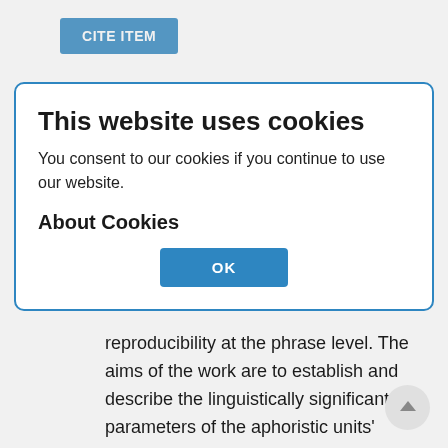[Figure (screenshot): Blue 'CITE ITEM' button in the background page]
Abstract
of language and speech. In this regard, the contrastive analysis of reproducibility on the material of set units is particularly relevant. The author attempts to differentiate recurrence and
[Figure (screenshot): Cookie consent modal dialog with title 'This website uses cookies', body text 'You consent to our cookies if you continue to use our website.', subheading 'About Cookies', and an OK button]
reproducibility at the phrase level. The aims of the work are to establish and describe the linguistically significant parameters of the aphoristic units'